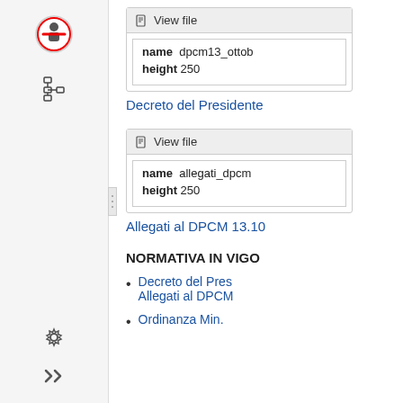[Figure (screenshot): Web application sidebar with navigation icons: no-entry/stop icon at top, tree/hierarchy icon, resize handle, gear/settings icon, and double-arrow icon at bottom.]
[Figure (screenshot): View file card showing name: dpcm13_ottob and height: 250]
Decreto del Presidente
[Figure (screenshot): View file card showing name: allegati_dpcm and height: 250]
Allegati al DPCM 13.10
NORMATIVA IN VIGO
Decreto del Pres
Allegati al DPCM
Ordinanza Min.